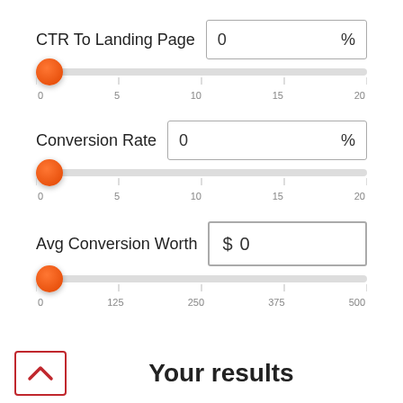CTR To Landing Page
0 %
[Figure (other): Horizontal slider for CTR To Landing Page, range 0-20, thumb at 0. Orange circular thumb on left end of grey track. Tick marks with labels 0, 5, 10, 15, 20.]
Conversion Rate
0 %
[Figure (other): Horizontal slider for Conversion Rate, range 0-20, thumb at 0. Orange circular thumb on left end of grey track. Tick marks with labels 0, 5, 10, 15, 20.]
Avg Conversion Worth
$ 0
[Figure (other): Horizontal slider for Avg Conversion Worth, range 0-500, thumb at 0. Orange circular thumb on left end of grey track. Tick marks with labels 0, 125, 250, 375, 500.]
Your results